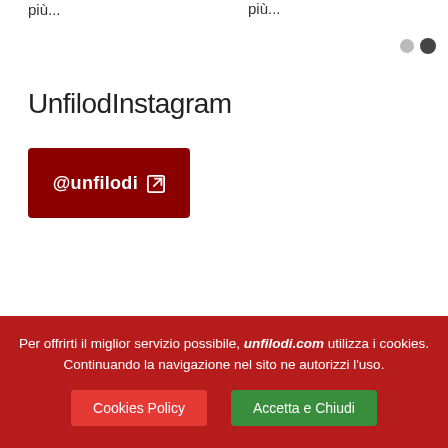più...
più...
[Figure (other): Two pagination dots: grey and dark]
UnfilodInstagram
[Figure (other): Dark red button with text @unfilodi and external link icon]
Per offrirti il miglior servizio possibile, unfilodi.com utilizza i cookies. Continuando la navigazione nel sito ne autorizzi l'uso.
Cookies Policy
Accetta e Chiudi